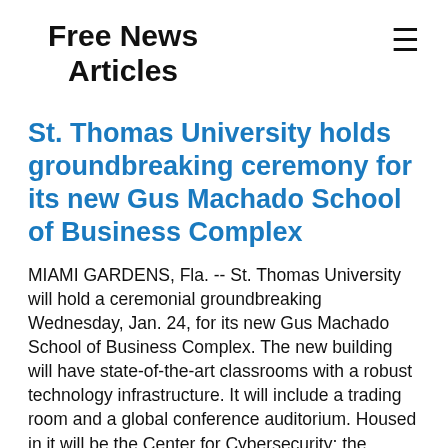Free News Articles
St. Thomas University holds groundbreaking ceremony for its new Gus Machado School of Business Complex
MIAMI GARDENS, Fla. -- St. Thomas University will hold a ceremonial groundbreaking Wednesday, Jan. 24, for its new Gus Machado School of Business Complex. The new building will have state-of-the-art classrooms with a robust technology infrastructure. It will include a trading room and a global conference auditorium. Housed in it will be the Center for Cybersecurity; the Center for Entrepreneurship and Innovation; the Center for Sports Administration and the Center for Technology Logistics